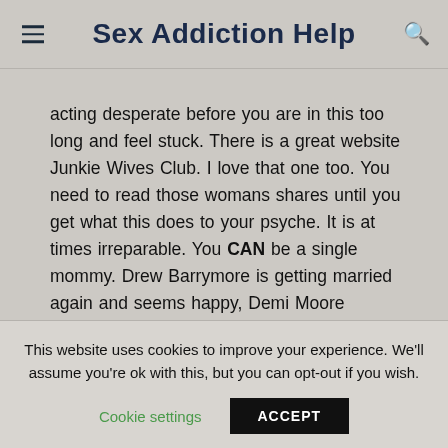Sex Addiction Help
acting desperate before you are in this too long and feel stuck. There is a great website Junkie Wives Club. I love that one too. You need to read those womans shares until you get what this does to your psyche. It is at times irreparable. You CAN be a single mommy. Drew Barrymore is getting married again and seems happy, Demi Moore married to a Sex Addict, not so good. You can do ok
This website uses cookies to improve your experience. We'll assume you're ok with this, but you can opt-out if you wish.